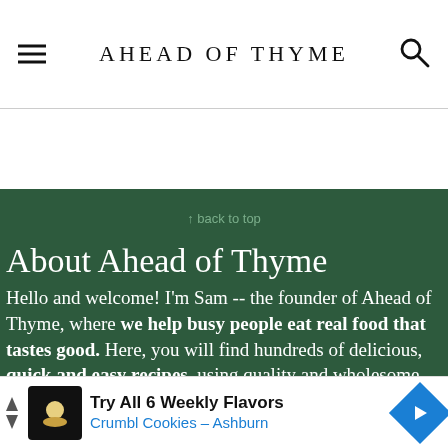AHEAD OF THYME
↑ back to top
About Ahead of Thyme
Hello and welcome! I'm Sam -- the founder of Ahead of Thyme, where we help busy people eat real food that tastes good. Here, you will find hundreds of delicious, quick and easy recipes, using quality and wholesome ingredients. So stay a while, browse around, and make so...
[Figure (other): Advertisement banner: Try All 6 Weekly Flavors - Crumbl Cookies - Ashburn]